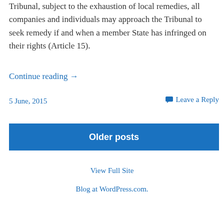Tribunal, subject to the exhaustion of local remedies, all companies and individuals may approach the Tribunal to seek remedy if and when a member State has infringed on their rights (Article 15).
Continue reading →
5 June, 2015
Leave a Reply
Older posts
View Full Site
Blog at WordPress.com.